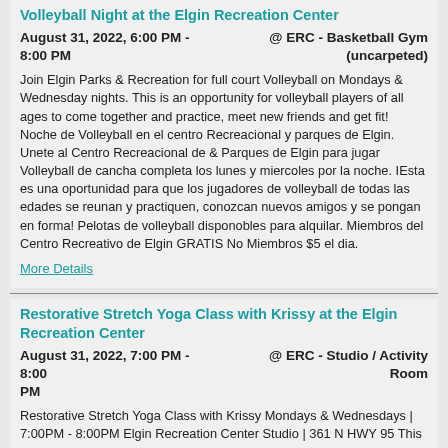Volleyball Night at the Elgin Recreation Center
August 31, 2022, 6:00 PM - 8:00 PM
@ ERC - Basketball Gym (uncarpeted)
Join Elgin Parks & Recreation for full court Volleyball on Mondays & Wednesday nights. This is an opportunity for volleyball players of all ages to come together and practice, meet new friends and get fit! Noche de Volleyball en el centro Recreacional y parques de Elgin. Unete al Centro Recreacional de & Parques de Elgin para jugar Volleyball de cancha completa los lunes y miercoles por la noche. IEsta es una oportunidad para que los jugadores de volleyball de todas las edades se reunan y practiquen, conozcan nuevos amigos y se pongan en forma! Pelotas de volleyball disponobles para alquilar. Miembros del Centro Recreativo de Elgin GRATIS No Miembros $5 el dia.
More Details
Restorative Stretch Yoga Class with Krissy at the Elgin Recreation Center
August 31, 2022, 7:00 PM - 8:00 PM
@ ERC - Studio / Activity Room
Restorative Stretch Yoga Class with Krissy Mondays & Wednesdays | 7:00PM - 8:00PM Elgin Recreation Center Studio | 361 N HWY 95 This class is about renewing and restoring our energy. Life can be so busy sometimes -- work, school, kids and everything else in between. Come take some time to slow down, be present and get a good stretch in. We will tune inward to discover what our bodies truly need at this moment. All levels of experience are welcome including those who have never practiced before. Come explore yoga and how it can help you bring a healing, restorative, and rejuvenating balance...